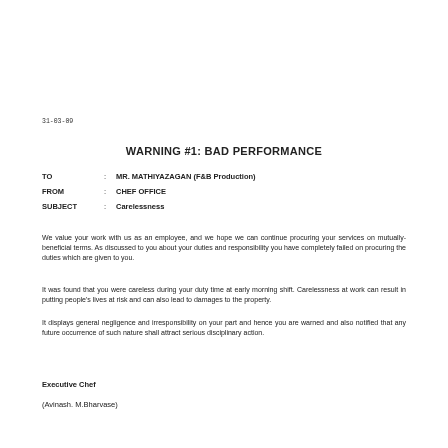31-03-09
WARNING #1: BAD PERFORMANCE
| TO | : | MR. MATHIYAZAGAN (F&B Production) |
| FROM | : | CHEF OFFICE |
| SUBJECT | : | Carelessness |
We value your work with us as an employee, and we hope we can continue procuring your services on mutually-beneficial terms. As discussed to you about your duties and responsibility you have completely failed on procuring the duties which are given to you.
It was found that you were careless during your duty time at early morning shift. Carelessness at work can result in putting people's lives at risk and can also lead to damages to the property.
It displays general negligence and irresponsibility on your part and hence you are warned and also notified that any future occurrence of such nature shall attract serious disciplinary action.
Executive Chef
(Avinash. M.Bharvase)